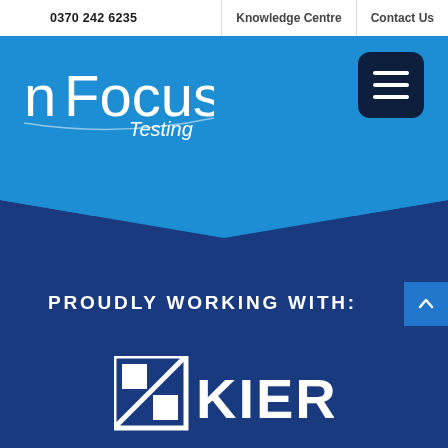0370 242 6235 | Knowledge Centre | Contact Us
[Figure (logo): nFocus Testing logo in white on blue background]
[Figure (other): Dark navy hamburger menu button with three white horizontal bars]
PROUDLY WORKING WITH:
[Figure (logo): Kier Group logo in white on dark blue background, showing the Kier square grid icon and KIER text]